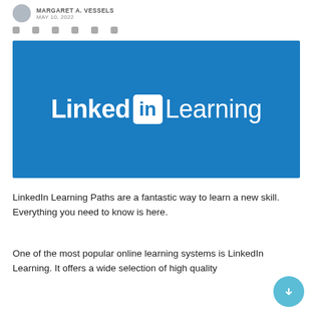MARGARET A. VESSELS · MAY 10, 2022
[Figure (logo): LinkedIn Learning logo — white text on blue background showing 'Linked[in] Learning']
LinkedIn Learning Paths are a fantastic way to learn a new skill. Everything you need to know is here.
One of the most popular online learning systems is LinkedIn Learning. It offers a wide selection of high quality